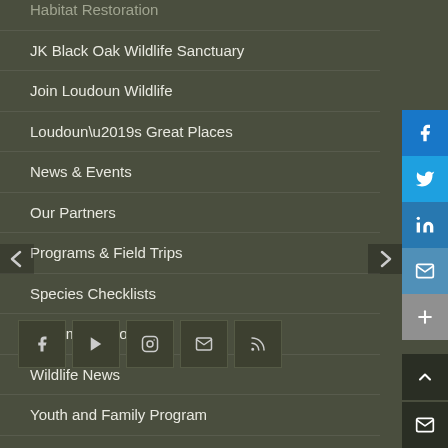Habitat Restoration
JK Black Oak Wildlife Sanctuary
Join Loudoun Wildlife
Loudoun’s Great Places
News & Events
Our Partners
Programs & Field Trips
Species Checklists
Stream Monitoring
Wildlife News
Youth and Family Program
[Figure (infographic): Social share sidebar with Facebook, Twitter, LinkedIn, Email, and More (+) buttons on the right edge]
[Figure (infographic): Bottom social icons: Facebook, YouTube, Instagram, Email, RSS feed]
[Figure (infographic): Bottom right utility buttons: scroll-to-top arrow and email envelope]